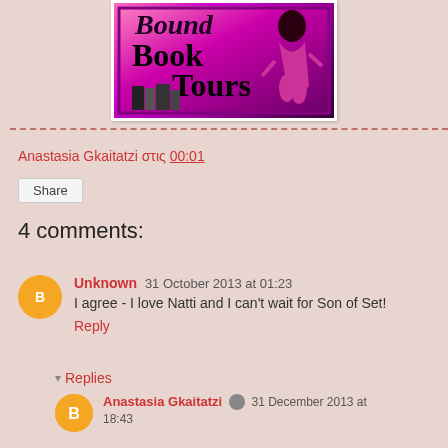[Figure (illustration): Book Tours banner image with pink/purple gradient background showing 'Bound Book Tours' text in decorative font with a figure illustration]
Anastasia Gkaitatzi στις 00:01
Share
4 comments:
Unknown  31 October 2013 at 01:23
I agree - I love Natti and I can't wait for Son of Set!
Reply
Replies
Anastasia Gkaitatzi  31 December 2013 at 18:43